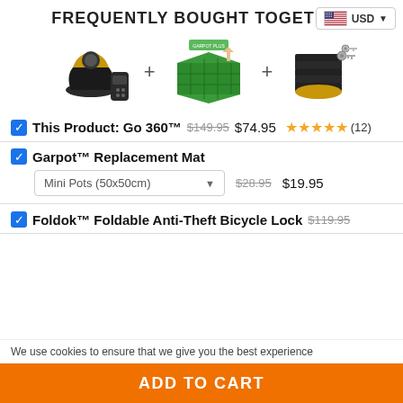FREQUENTLY BOUGHT TOGETHER
[Figure (screenshot): Product images: Go 360 device + Garpot Replacement Mat + Foldok Bicycle Lock, arranged horizontally with plus signs between them. USD currency badge in top right.]
This Product: Go 360™  $149.95  $74.95  ★★★★★ (12)
Garpot™ Replacement Mat  Mini Pots (50x50cm) dropdown  $28.95  $19.95
Foldok™ Foldable Anti-Theft Bicycle Lock  $119.95
We use cookies to ensure that we give you the best experience
ADD TO CART